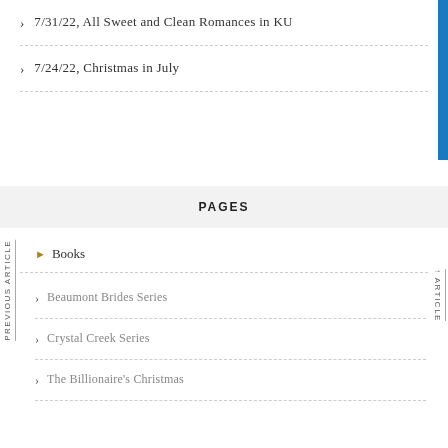7/31/22, All Sweet and Clean Romances in KU
7/24/22, Christmas in July
PAGES
Books
Beaumont Brides Series
Crystal Creek Series
The Billionaire's Christmas